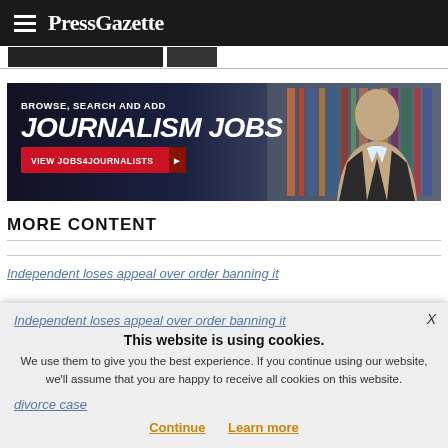PressGazette
[Figure (illustration): Advertisement banner for journalism jobs website showing 'BROWSE, SEARCH AND ADD JOURNALISM JOBS' with a 'VIEW JOBS4JOURNALISTS' red button and a woman in background]
MORE CONTENT
Independent loses appeal over order banning it from reporting divorce case
This website is using cookies. We use them to give you the best experience. If you continue using our website, we'll assume that you are happy to receive all cookies on this website.
Continue   Learn more